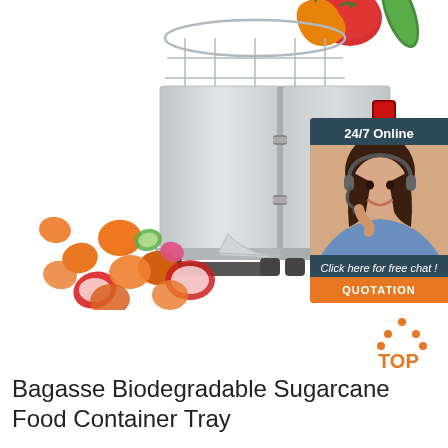[Figure (photo): Commercial vegetable cutting/slicing machine in stainless steel with vegetables (tomatoes, cucumbers, peppers, carrots) flying out from the bottom. Features a wire basket on top holding fresh vegetables.]
[Figure (infographic): 24/7 Online chat widget overlay in dark teal/blue background with a female customer service agent wearing a headset and smiling, with text 'Click here for free chat!' and an orange QUOTATION button.]
[Figure (logo): Orange 'TOP' logo with dots arranged in a triangle above the word TOP in orange text.]
Bagasse Biodegradable Sugarcane Food Container Tray